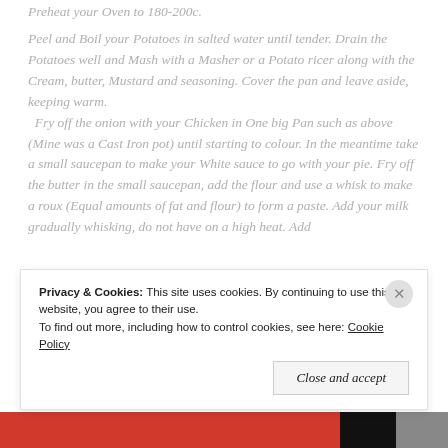Preheat your Oven to 180-200c.
Peel and Boil your Potatoes in salted water until tender. Drain the Potatoes well and Mash with a Masher or a Potato ricer along with the Cream, butter, Mustard and seasoning. Cover the pan and leave aside, keeping warm. Fry off the onion with your Chicken in One big Pan such as above (Mine was a Cast Iron pot) until starting to colour. In the meantime take a small saucepan to make your White sauce to go with your pie. Fry off the butter in the small saucepan, add the flour and use a whisk to make a roux (Equal amounts of fat and flour) to form a paste. Add your milk gradually whisking, do not have on a high heat. Add
Privacy & Cookies: This site uses cookies. By continuing to use this website, you agree to their use.
To find out more, including how to control cookies, see here: Cookie Policy